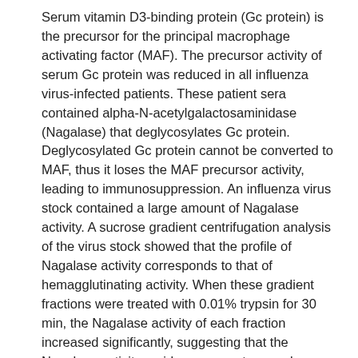Serum vitamin D3-binding protein (Gc protein) is the precursor for the principal macrophage activating factor (MAF). The precursor activity of serum Gc protein was reduced in all influenza virus-infected patients. These patient sera contained alpha-N-acetylgalactosaminidase (Nagalase) that deglycosylates Gc protein. Deglycosylated Gc protein cannot be converted to MAF, thus it loses the MAF precursor activity, leading to immunosuppression. An influenza virus stock contained a large amount of Nagalase activity. A sucrose gradient centrifugation analysis of the virus stock showed that the profile of Nagalase activity corresponds to that of hemagglutinating activity. When these gradient fractions were treated with 0.01% trypsin for 30 min, the Nagalase activity of each fraction increased significantly, suggesting that the Nagalase activity resides on an outer envelope protein of the influenza virion and is enhanced by the proteolytic process. After disruption of influenza virions with sodium deoxycholate, fractionation of the envelope proteins with mannose-specific lectin affinity column along with electrophoretic analysis of the Nagalase peak fraction revealed that Nagalase is the intrinsic component of the hemagglutinin (HA). Cloned HA protein exhibited Nagalase activity only if treated with trypsin. Since both fusion capacity and Nagalase activity of HA protein are expressed by proteolytic cleavage, Nagalase activity appears to be an intrinsic factor for the fusion process. The Nagalase...